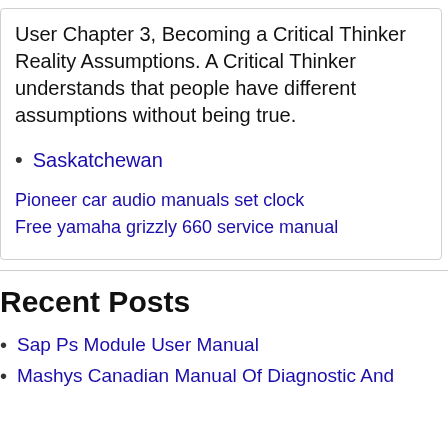User Chapter 3, Becoming a Critical Thinker Reality Assumptions. A Critical Thinker understands that people have different assumptions without being true.
Saskatchewan
Pioneer car audio manuals set clock
Free yamaha grizzly 660 service manual
Recent Posts
Sap Ps Module User Manual
Mashys Canadian Manual Of Diagnostic And